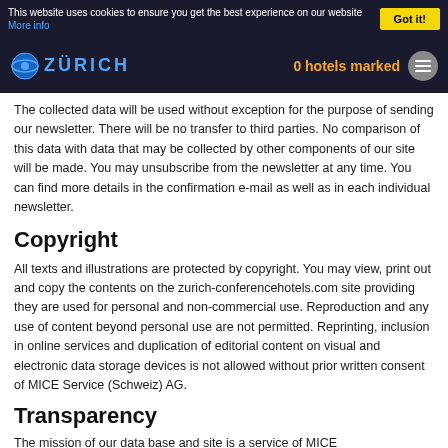This website uses cookies to ensure you get the best experience on our website More info Got it!
[Figure (logo): Zurich Conference Hotels logo with circular icon and text ZURICH in blue]
0 hotels marked
The collected data will be used without exception for the purpose of sending our newsletter. There will be no transfer to third parties. No comparison of this data with data that may be collected by other components of our site will be made. You may unsubscribe from the newsletter at any time. You can find more details in the confirmation e-mail as well as in each individual newsletter.
Copyright
All texts and illustrations are protected by copyright. You may view, print out and copy the contents on the zurich-conferencehotels.com site providing they are used for personal and non-commercial use. Reproduction and any use of content beyond personal use are not permitted. Reprinting, inclusion in online services and duplication of editorial content on visual and electronic data storage devices is not allowed without prior written consent of MICE Service (Schweiz) AG.
Transparency
The mission of our data base and site is a service of MICE...